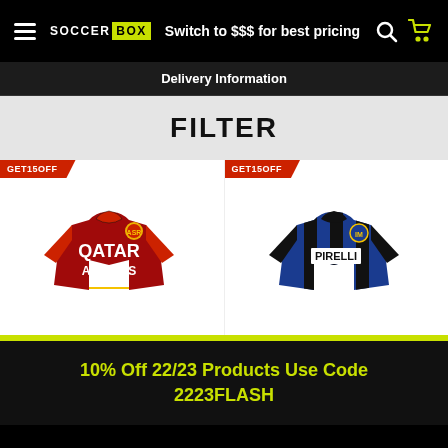Switch to $$$ for best pricing
Delivery Information
FILTER
[Figure (photo): AS Roma red jersey with Qatar Airways sponsor and GET15OFF discount badge]
[Figure (photo): Inter Milan blue and black striped jersey with Pirelli sponsor and GET15OFF discount badge]
10% Off 22/23 Products Use Code 2223FLASH